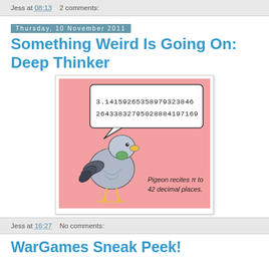Jess at 08:13   2 comments:
Thursday, 10 November 2011
Something Weird Is Going On: Deep Thinker
[Figure (illustration): Cartoon pigeon reciting pi to 42 decimal places. Speech bubble shows: 3.14159265358979323846 26433832795028884197169. Caption reads: Pigeon recites π to 42 decimal places.]
Jess at 16:27   No comments:
WarGames Sneak Peek!